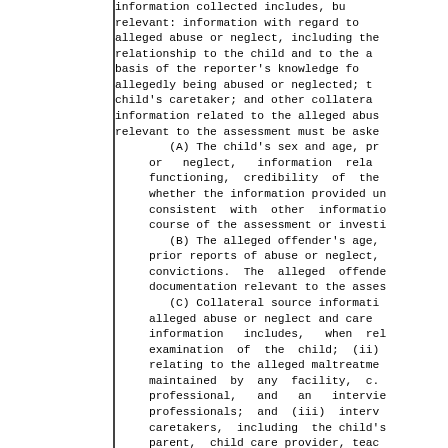information collected includes, but is not limited to, the following, when relevant: information with regard to the person alleged to have committed the alleged abuse or neglect, including the relationship to the child and to the alleged victim; the basis of the reporter's knowledge for the report; information regarding the person allegedly being abused or neglected; the home environment of the child, the child's caretaker; and other collateral source information. All other information related to the alleged abuse or neglect and care of the child that is relevant to the assessment must be asked.
    (A) The child's sex and age, prior reports of abuse or neglect, information relating to family functioning, credibility of the child whether the information provided under oath, whether the information provided under subdivision consistent with other information gathered over the course of the assessment or investigation.
    (B) The alleged offender's age, prior reports of abuse or neglect, prior convictions. The alleged offender must provide documentation relevant to the assessment.
    (C) Collateral source information relevant to the alleged abuse or neglect and care of the child. Collateral source information includes, when relevant: (i) a medical examination of the child; (ii) records and reports relating to the alleged maltreatment of the child that are maintained by any facility, c. professional, and an interview of other professionals; and (iii) interviews of caretakers, including the child's parent, child care provider, teacher, family members, relatives, and other persons